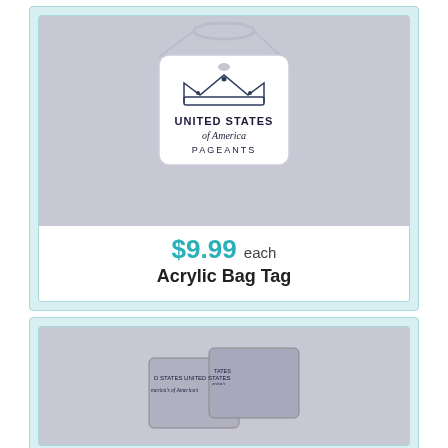[Figure (photo): An acrylic bag tag with a loop/wire ring, featuring a crown graphic and text reading UNITED STATES of America PAGEANTS on a white square tag against a purple/grey background.]
$9.99 each
Acrylic Bag Tag
[Figure (photo): Partially visible photo showing what appears to be fabric or ribbon items with United States of America's text visible, shown at the bottom of the page, cropped.]